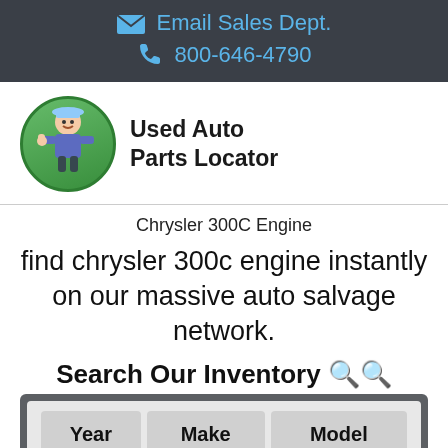Email Sales Dept.
800-646-4790
[Figure (logo): Used Auto Parts Locator logo with mechanic character in green circle]
Chrysler 300C Engine
find chrysler 300c engine instantly on our massive auto salvage network.
Search Our Inventory 🔍🔍
| Year | Make | Model |
| --- | --- | --- |
| Search... |